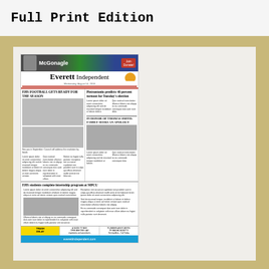Full Print Edition
[Figure (screenshot): Thumbnail of the Everett Independent newspaper front page showing the McGonagle political advertisement banner, the Everett Independent masthead, headlines including 'Pietrantonio predicts 40 percent turnout for Tuesday's election', 'EHS students complete internship program at MPCU', football photos, and the website URL everettindependent.com at the bottom.]